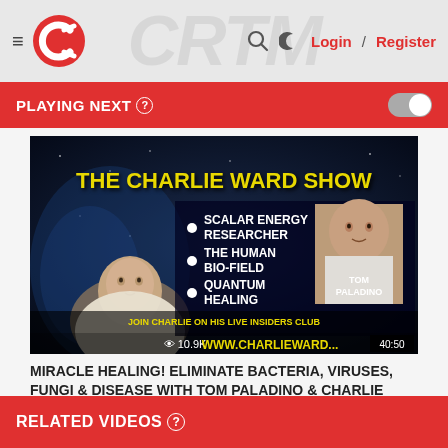Login / Register
PLAYING NEXT
[Figure (screenshot): The Charlie Ward Show thumbnail featuring bullet points: Scalar Energy Researcher, The Human Bio-Field, Quantum Healing, with Tom Paladino photo. View count 10.9K, duration 40:50, website www.charlieward shown.]
MIRACLE HEALING! ELIMINATE BACTERIA, VIRUSES, FUNGI & DISEASE WITH TOM PALADINO & CHARLIE WARD
Dr Charlie Ward
3 months ago
RELATED VIDEOS